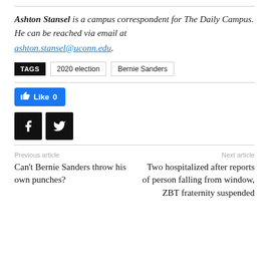Ashton Stansel is a campus correspondent for The Daily Campus. He can be reached via email at ashton.stansel@uconn.edu.
TAGS  2020 election  Bernie Sanders
[Figure (other): Facebook Like button showing 0 likes, Facebook share icon, Twitter share icon]
Previous article
Can't Bernie Sanders throw his own punches?
Next article
Two hospitalized after reports of person falling from window, ZBT fraternity suspended